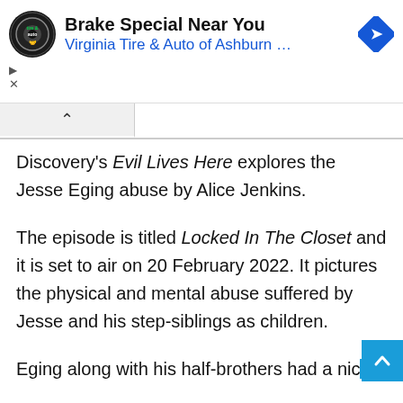[Figure (infographic): Advertisement banner for Virginia Tire & Auto of Ashburn with circular logo, bold headline 'Brake Special Near You', blue subtext 'Virginia Tire & Auto of Ashburn ...', and a blue diamond navigation arrow icon on the right. Play and close controls on the left.]
Discovery's Evil Lives Here explores the Jesse Eging abuse by Alice Jenkins.
The episode is titled Locked In The Closet and it is set to air on 20 February 2022. It pictures the physical and mental abuse suffered by Jesse and his step-siblings as children.
Eging along with his half-brothers had a nice childhood until their mother Mary Rowles...